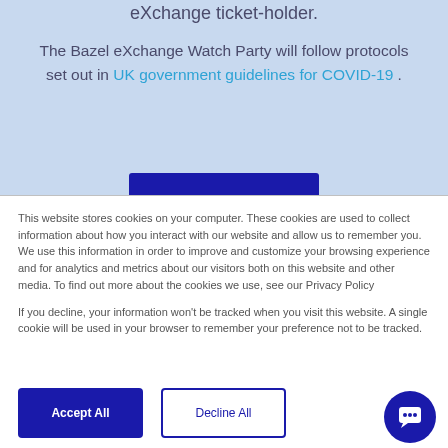eXchange ticket-holder.
The Bazel eXchange Watch Party will follow protocols set out in UK government guidelines for COVID-19 .
This website stores cookies on your computer. These cookies are used to collect information about how you interact with our website and allow us to remember you. We use this information in order to improve and customize your browsing experience and for analytics and metrics about our visitors both on this website and other media. To find out more about the cookies we use, see our Privacy Policy
If you decline, your information won’t be tracked when you visit this website. A single cookie will be used in your browser to remember your preference not to be tracked.
Accept All
Decline All